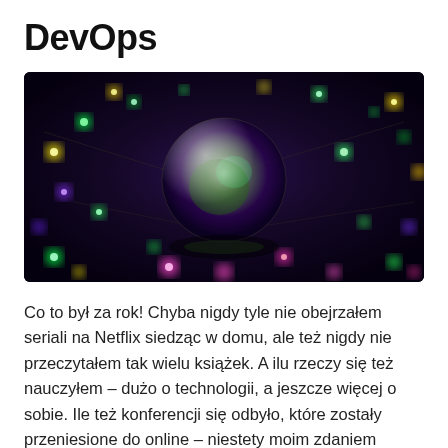DevOps
[Figure (photo): A glass crystal ball surrounded by colorful bokeh lights (green, yellow, purple, pink) on a dark reflective surface — festive holiday lights background]
Co to był za rok! Chyba nigdy tyle nie obejrzałem seriali na Netflix siedząc w domu, ale też nigdy nie przeczytałem tak wielu książek. A ilu rzeczy się też nauczyłem – dużo o technologii, a jeszcze więcej o sobie. Ile też konferencji się odbyło, które zostały przeniesione do online – niestety moim zdaniem